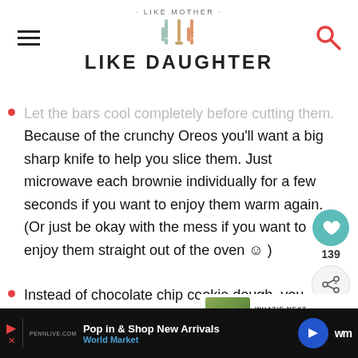· LIKE MOTHER · LIKE DAUGHTER
Let the bars cool completely before cutting them. Because of the crunchy Oreos you'll want a big sharp knife to help you slice them. Just microwave each brownie individually for a few seconds if you want to enjoy them warm again. (Or just be okay with the mess if you want to enjoy them straight out of the oven 🙂 )
Instead of chocolate chip cookie dough, you could also use peanut butter cookie dough, funfetti cookie dough, etc.
Pop in & Shop New Arrivals World Market